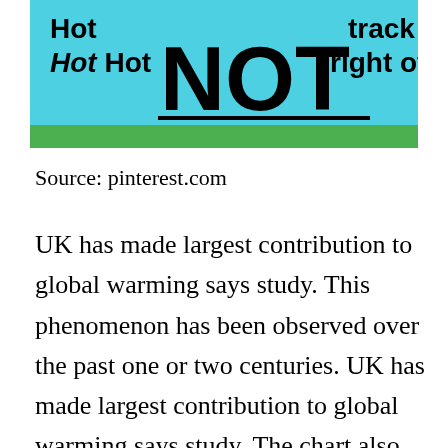[Figure (illustration): Banner image with cyan/blue background and green bottom strip. Text reads 'Hot Hot Hot' on the left, large bold 'NOT' in the center, and 'track right off' on the right. Black underline beneath 'NOT'.]
Source: pinterest.com
UK has made largest contribution to global warming says study. This phenomenon has been observed over the past one or two centuries. UK has made largest contribution to global warming says study. The chart also looks at the sector of emissions. Sumburgh Head pictured is one of the UKs most important sites for puffins terns and